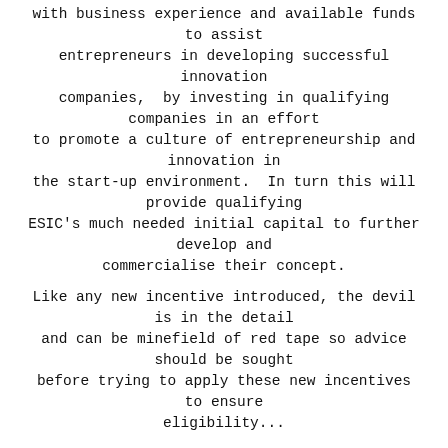with business experience and available funds to assist entrepreneurs in developing successful innovation companies,  by investing in qualifying companies in an effort to promote a culture of entrepreneurship and innovation in the start-up environment.  In turn this will provide qualifying ESIC's much needed initial capital to further develop and commercialise their concept.
Like any new incentive introduced, the devil is in the detail and can be minefield of red tape so advice should be sought before trying to apply these new incentives to ensure eligibility...
what is the incentive?
There are two key incentives available to eligible investors:
Investors that acquire newly issued shares in an Australian ESIC can receive a 20% non-refundable carry-